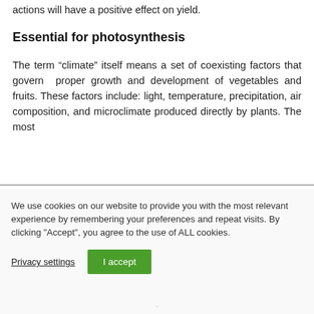actions will have a positive effect on yield.
Essential for photosynthesis
The term “climate” itself means a set of coexisting factors that govern proper growth and development of vegetables and fruits. These factors include: light, temperature, precipitation, air composition, and microclimate produced directly by plants. The most
We use cookies on our website to provide you with the most relevant experience by remembering your preferences and repeat visits. By clicking "Accept", you agree to the use of ALL cookies.
Privacy settings
I accept